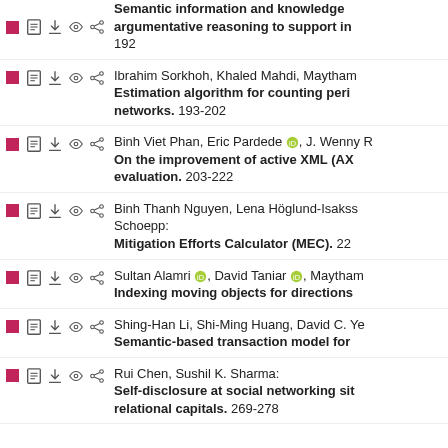Semantic information and knowledge argumentative reasoning to support in... 192
Ibrahim Sorkhoh, Khaled Mahdi, Maytham... Estimation algorithm for counting peri... networks. 193-202
Binh Viet Phan, Eric Pardede, J. Wenny R... On the improvement of active XML (AX) evaluation. 203-222
Binh Thanh Nguyen, Lena Höglund-Isaksson, Schoepp: Mitigation Efforts Calculator (MEC). 22...
Sultan Alamri, David Taniar, Maytham... Indexing moving objects for directions...
Shing-Han Li, Shi-Ming Huang, David C. Ye... Semantic-based transaction model for...
Rui Chen, Sushil K. Sharma: Self-disclosure at social networking sit... relational capitals. 269-278